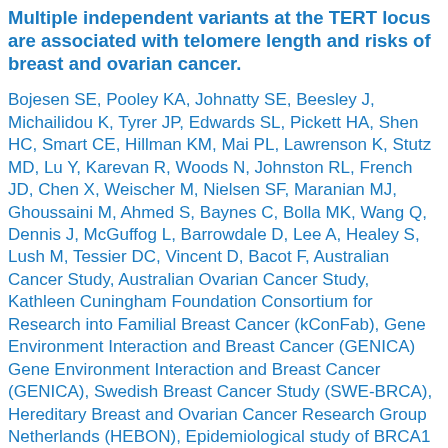Multiple independent variants at the TERT locus are associated with telomere length and risks of breast and ovarian cancer.
Bojesen SE, Pooley KA, Johnatty SE, Beesley J, Michailidou K, Tyrer JP, Edwards SL, Pickett HA, Shen HC, Smart CE, Hillman KM, Mai PL, Lawrenson K, Stutz MD, Lu Y, Karevan R, Woods N, Johnston RL, French JD, Chen X, Weischer M, Nielsen SF, Maranian MJ, Ghoussaini M, Ahmed S, Baynes C, Bolla MK, Wang Q, Dennis J, McGuffog L, Barrowdale D, Lee A, Healey S, Lush M, Tessier DC, Vincent D, Bacot F, Australian Cancer Study, Australian Ovarian Cancer Study, Kathleen Cuningham Foundation Consortium for Research into Familial Breast Cancer (kConFab), Gene Environment Interaction and Breast Cancer (GENICA) Gene Environment Interaction and Breast Cancer (GENICA), Swedish Breast Cancer Study (SWE-BRCA), Hereditary Breast and Ovarian Cancer Research Group Netherlands (HEBON), Epidemiological study of BRCA1 & BRCA2 Mutation Carriers (EMBRACE), Genetic Modifiers of Cancer Risk in BRCA1/2 Mutation Carriers (GEMO) Genetic Modifiers of Cancer Risk in BRCA1/2 Mutation Carriers